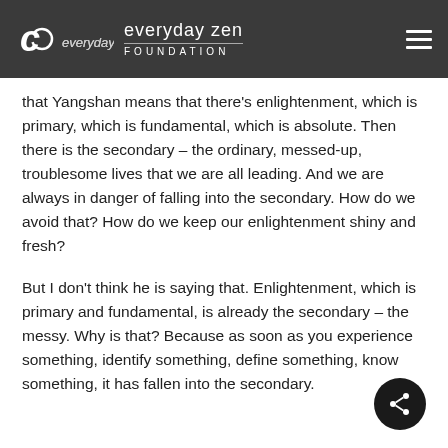everyday zen FOUNDATION
that Yangshan means that there's enlightenment, which is primary, which is fundamental, which is absolute. Then there is the secondary – the ordinary, messed-up, troublesome lives that we are all leading. And we are always in danger of falling into the secondary. How do we avoid that? How do we keep our enlightenment shiny and fresh?
But I don't think he is saying that. Enlightenment, which is primary and fundamental, is already the secondary – the messy. Why is that? Because as soon as you experience something, identify something, define something, know something, it has fallen into the secondary.